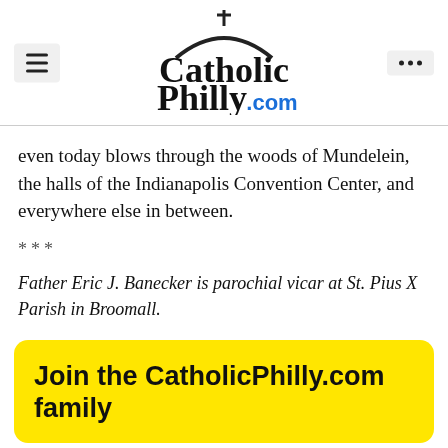CatholicPhilly.com
even today blows through the woods of Mundelein, the halls of the Indianapolis Convention Center, and everywhere else in between.
***
Father Eric J. Banecker is parochial vicar at St. Pius X Parish in Broomall.
Join the CatholicPhilly.com family